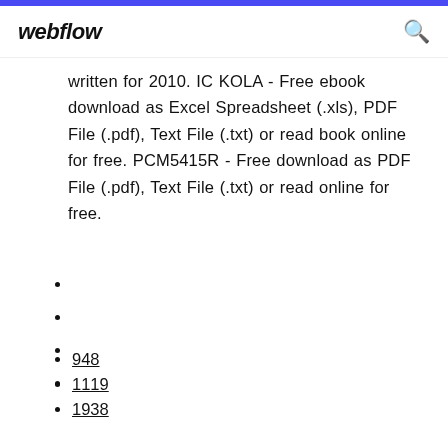webflow
written for 2010. IC KOLA - Free ebook download as Excel Spreadsheet (.xls), PDF File (.pdf), Text File (.txt) or read book online for free. PCM5415R - Free download as PDF File (.pdf), Text File (.txt) or read online for free.
948
1119
1938